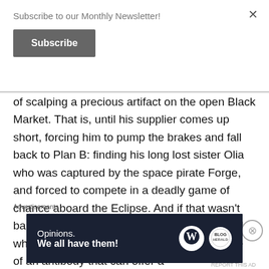Subscribe to our Monthly Newsletter!
Subscribe
of scalping a precious artifact on the open Black Market. That is, until his supplier comes up short, forcing him to pump the brakes and fall back to Plan B: finding his long lost sister Olia who was captured by the space pirate Forge, and forced to compete in a deadly game of chance aboard the Eclipse. And if that wasn't bad enough, the stakes have just been raised when he discovers that she is the only source of an antibody that can offer a
Advertisements
[Figure (infographic): Dark blue advertisement banner with text 'Opinions. We all have them!' and WordPress and another logo icon on the right.]
REPORT THIS AD